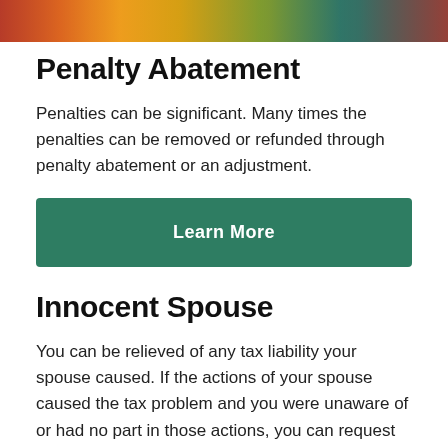[Figure (photo): Colorful photo strip at top of page showing blurred fabric or files in various colors including red, orange, yellow, green]
Penalty Abatement
Penalties can be significant.  Many times the penalties can be removed or refunded through penalty abatement or an adjustment.
Learn More
Innocent Spouse
You can be relieved of any tax liability your spouse caused.  If the actions of your spouse caused the tax problem and you were unaware of or had no part in those actions, you can request "innocent